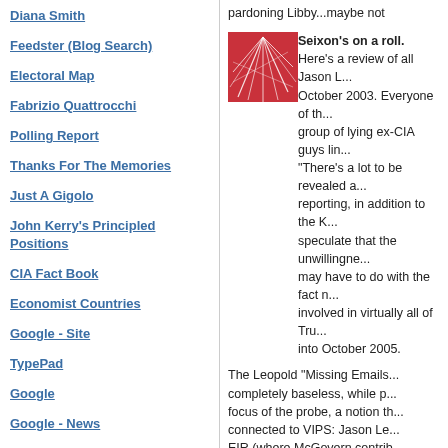Diana Smith
Feedster (Blog Search)
Electoral Map
Fabrizio Quattrocchi
Polling Report
Thanks For The Memories
Just A Gigolo
John Kerry's Principled Positions
CIA Fact Book
Economist Countries
Google - Site
TypePad
Google
Google - News
FEC Spy
Only Time
Iowa Elec. Markets
White House Press
pardoning Libby...maybe not
[Figure (illustration): Red/pink abstract image with white line pattern, square thumbnail]
Seixon's on a roll.
Here's a review of all Jason L... October 2003. Everyone of th... group of lying ex-CIA guys li... "There's a lot to be revealed a... reporting, in addition to the K... speculate that the unwillingne... may have to do with the fact ... involved in virtually all of Tru... into October 2005.
The Leopold "Missing Emails... completely baseless, while p... focus of the probe, a notion th... connected to VIPS: Jason Le... EIR (where McGovern contrib... as late as last month the clai... probe.
This is not a coincidence, it is... campaign."